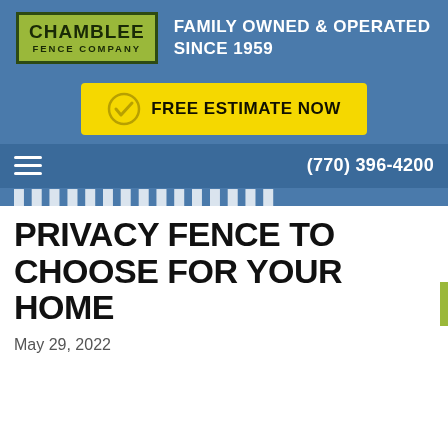[Figure (logo): Chamblee Fence Company logo - green background with dark border, company name in bold]
FAMILY OWNED & OPERATED SINCE 1959
[Figure (other): Yellow FREE ESTIMATE NOW button with checkmark icon]
(770) 396-4200
PRIVACY FENCE TO CHOOSE FOR YOUR HOME
May 29, 2022